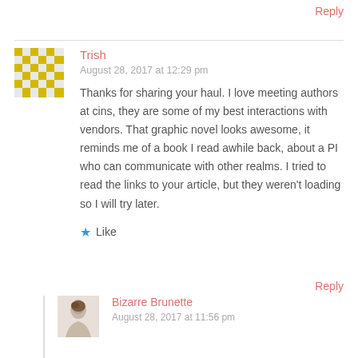Reply
Trish
August 28, 2017 at 12:29 pm
Thanks for sharing your haul. I love meeting authors at cins, they are some of my best interactions with vendors. That graphic novel looks awesome, it reminds me of a book I read awhile back, about a PI who can communicate with other realms. I tried to read the links to your article, but they weren't loading so I will try later.
Like
Reply
Bizarre Brunette
August 28, 2017 at 11:56 pm